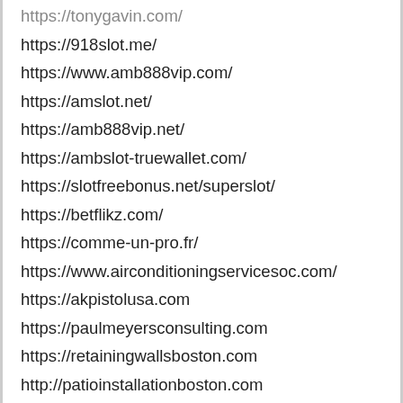https://tonygavin.com/
https://918slot.me/
https://www.amb888vip.com/
https://amslot.net/
https://amb888vip.net/
https://ambslot-truewallet.com/
https://slotfreebonus.net/superslot/
https://betflikz.com/
https://comme-un-pro.fr/
https://www.airconditioningservicesoc.com/
https://akpistolusa.com
https://paulmeyersconsulting.com
https://retainingwallsboston.com
http://patioinstallationboston.com
https://www.suplementosmaisbaratos.com.br/nandrol-o-que-e-beneficios-ciclo-comprar-preco,
https://llc.as.gov/